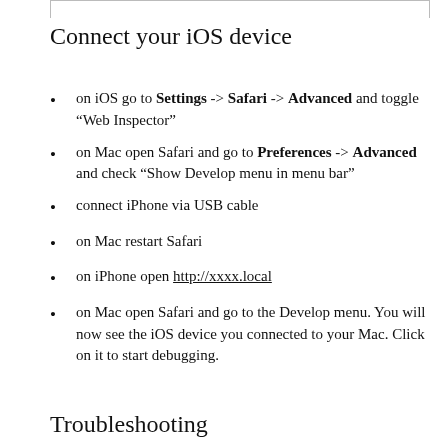Connect your iOS device
on iOS go to Settings -> Safari -> Advanced and toggle “Web Inspector”
on Mac open Safari and go to Preferences -> Advanced and check “Show Develop menu in menu bar”
connect iPhone via USB cable
on Mac restart Safari
on iPhone open http://xxxx.local
on Mac open Safari and go to the Develop menu. You will now see the iOS device you connected to your Mac. Click on it to start debugging.
Troubleshooting